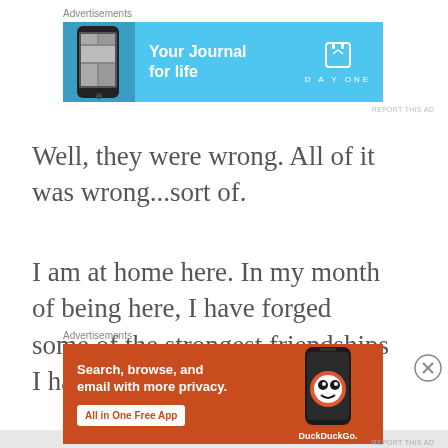[Figure (other): DayOne 'Your Journal for life' advertisement banner with light blue background, phone image on left, text in center, and DayOne logo on right]
Well, they were wrong. All of it was wrong...sort of.
I am at home here. In my month of being here, I have forged some of the strongest friendships I have ever known. I joined the
[Figure (other): DuckDuckGo 'Search, browse, and email with more privacy. All in One Free App' advertisement banner with orange background and phone image on right]